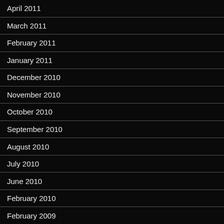April 2011
March 2011
February 2011
January 2011
December 2010
November 2010
October 2010
September 2010
August 2010
July 2010
June 2010
February 2010
February 2009